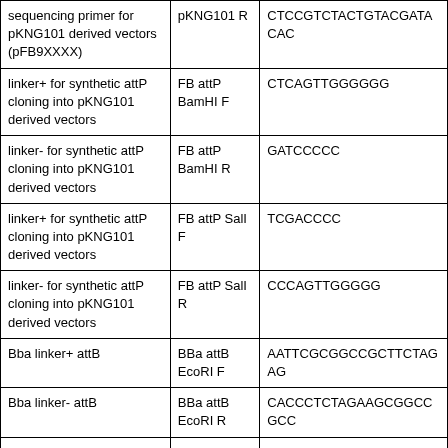| Description | Name | Sequence |
| --- | --- | --- |
| sequencing primer for pKNG101 derived vectors (pFB9XXXX) | pKNG101 R | CTCCGTCTACTGTACGATACAC |
| linker+ for synthetic attP cloning into pKNG101 derived vectors | FB attP BamHI F | CTCAGTTGGGGGG |
| linker- for synthetic attP cloning into pKNG101 derived vectors | FB attP BamHI R | GATCCCCC |
| linker+ for synthetic attP cloning into pKNG101 derived vectors | FB attP SalI F | TCGACCCC |
| linker- for synthetic attP cloning into pKNG101 derived vectors | FB attP SalI R | CCCAGTTGGGGG |
| Bba linker+ attB | BBa attB EcoRI F | AATTCGCGGCCGCTTCTAGAG |
| Bba linker- attB | BBa attB EcoRI R | CACCCTCTAGAAGCGGCCGCC |
| Bba linker+ attB | BBa attB PstI F | CGCGTACTAGTAGCGGCCGCT |